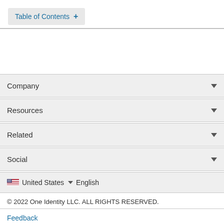Table of Contents +
Company
Resources
Related
Social
United States  English
© 2022 One Identity LLC. ALL RIGHTS RESERVED.
Feedback
Terms of Use